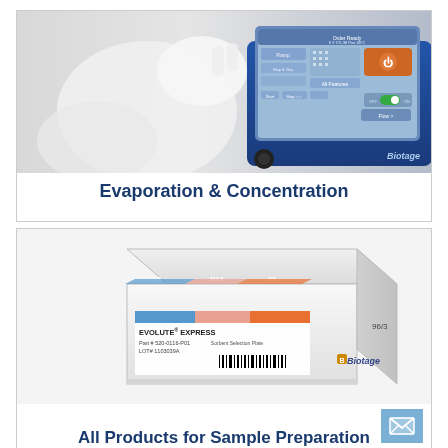[Figure (photo): Lab technician in white gloves touching a Biotage instrument touchscreen display showing evaporation settings]
Evaporation & Concentration
[Figure (photo): Biotage EVOLUTE EXPRESS solid phase extraction plate product box with blue, salmon, and orange label bands showing product name, part number, and barcode]
All Products for Sample Preparation